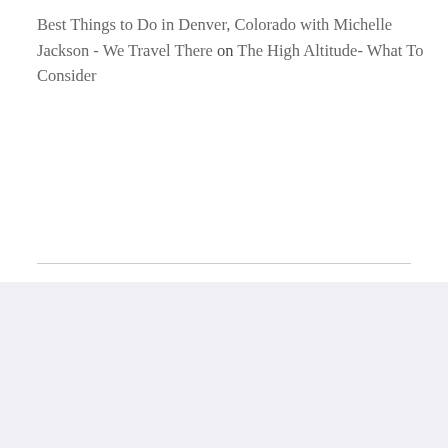Best Things to Do in Denver, Colorado with Michelle Jackson - We Travel There on The High Altitude- What To Consider
Instagram
Instagram did not return a 200.
Follow Me!